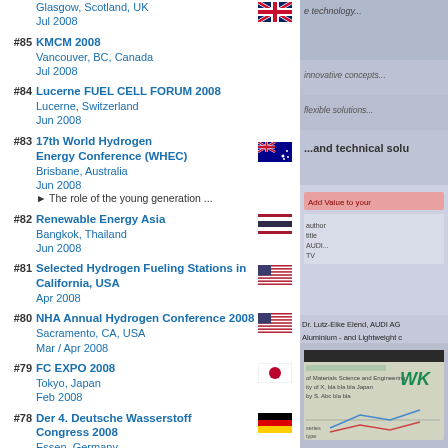#85 KMCM 2008, Vancouver, BC, Canada, Jul 2008
#84 Lucerne FUEL CELL FORUM 2008, Lucerne, Switzerland, Jun 2008
#83 17th World Hydrogen Energy Conference (WHEC), Brisbane, Australia, Jun 2008 — The role of the young generation ...
#82 Renewable Energy Asia, Bangkok, Thailand, Jun 2008
#81 Selected Hydrogen Fueling Stations in California, USA, Apr 2008
#80 NHA Annual Hydrogen Conference 2008, Sacramento, CA, USA, Mar / Apr 2008
#79 FC EXPO 2008, Tokyo, Japan, Feb 2008
#78 Der 4. Deutsche Wasserstoff Congress 2008, Essen, Germany, Feb 2008
#77 ISEPD 2008, Changwon, Korea, Jan 2008
2007
#76 20TH World Energy Congress & Exhibition, Rome, Italy
[Figure (photo): Right column: partial view of a technology/innovation advertisement with text 'innovative concepts...', 'flexible solutions...', '...and technical solutions'. Below: Dr. Lutz-Eike Elend, AUDI AG, Aluminium- and Lightweight... and a slide/document image.]